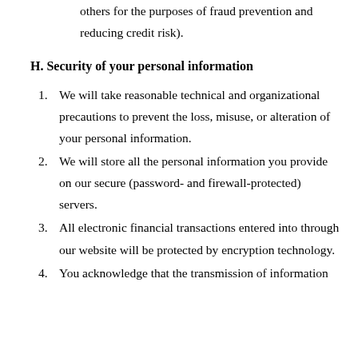others for the purposes of fraud prevention and reducing credit risk).
H. Security of your personal information
1. We will take reasonable technical and organizational precautions to prevent the loss, misuse, or alteration of your personal information.
2. We will store all the personal information you provide on our secure (password- and firewall-protected) servers.
3. All electronic financial transactions entered into through our website will be protected by encryption technology.
4. You acknowledge that the transmission of information